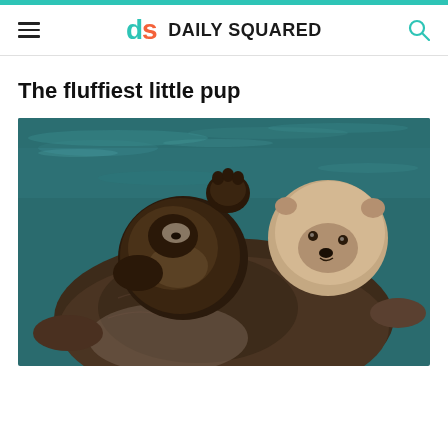Daily Squared
The fluffiest little pup
[Figure (photo): A sea otter mother floating on water on her back, holding a small fluffy sea otter pup on her chest. The pup is dark brown and fluffy with its paws up. The mother has a tan/beige head and darker wet fur body.]